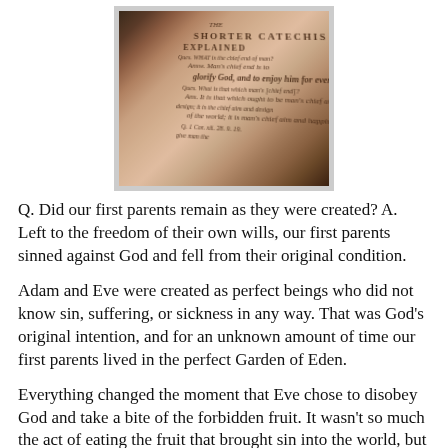[Figure (photo): A close-up photograph of an old book open to a page titled 'THE SHORTER CATECHISM EXPLAINED', showing aged text with questions and answers in an antique typeface on yellowed paper.]
Q. Did our first parents remain as they were created? A. Left to the freedom of their own wills, our first parents sinned against God and fell from their original condition.
Adam and Eve were created as perfect beings who did not know sin, suffering, or sickness in any way. That was God's original intention, and for an unknown amount of time our first parents lived in the perfect Garden of Eden.
Everything changed the moment that Eve chose to disobey God and take a bite of the forbidden fruit. It wasn't so much the act of eating the fruit that brought sin into the world, but th—